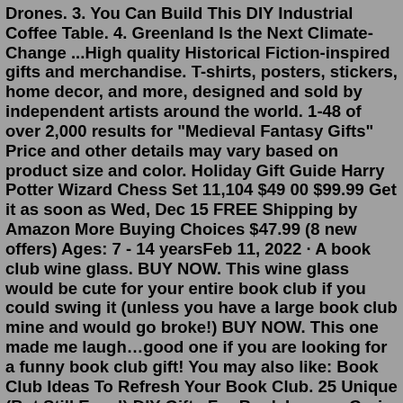Drones. 3. You Can Build This DIY Industrial Coffee Table. 4. Greenland Is the Next Climate-Change ...High quality Historical Fiction-inspired gifts and merchandise. T-shirts, posters, stickers, home decor, and more, designed and sold by independent artists around the world. 1-48 of over 2,000 results for "Medieval Fantasy Gifts" Price and other details may vary based on product size and color. Holiday Gift Guide Harry Potter Wizard Chess Set 11,104 $49 00 $99.99 Get it as soon as Wed, Dec 15 FREE Shipping by Amazon More Buying Choices $47.99 (8 new offers) Ages: 7 - 14 yearsFeb 11, 2022 · A book club wine glass. BUY NOW. This wine glass would be cute for your entire book club if you could swing it (unless you have a large book club mine and would go broke!) BUY NOW. This one made me laugh…good one if you are looking for a funny book club gift! You may also like: Book Club Ideas To Refresh Your Book Club. 25 Unique (But Still Easy!) DIY Gifts For Book Lovers. Corin Balkovek Nov 23, 2018. Finding the right gift for the holidays can be tough. You want it to